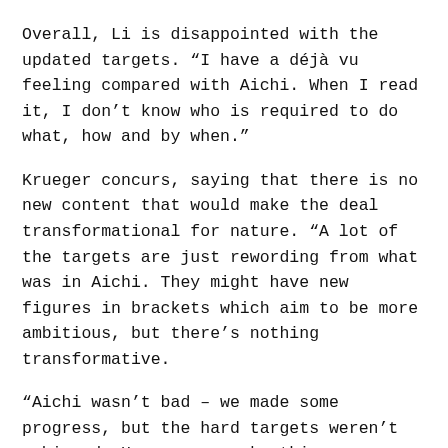Overall, Li is disappointed with the updated targets. “I have a déjà vu feeling compared with Aichi. When I read it, I don’t know who is required to do what, how and by when.”
Krueger concurs, saying that there is no new content that would make the deal transformational for nature. “A lot of the targets are just rewording from what was in Aichi. They might have new figures in brackets which aim to be more ambitious, but there’s nothing transformative.
“Aichi wasn’t bad – we made some progress, but the hard targets weren’t achieved. How can we make this new agreement more effective? To spend hours and days of negotiating sessions tweaking the Aichi targets is not what’s going to make that change,” she says.